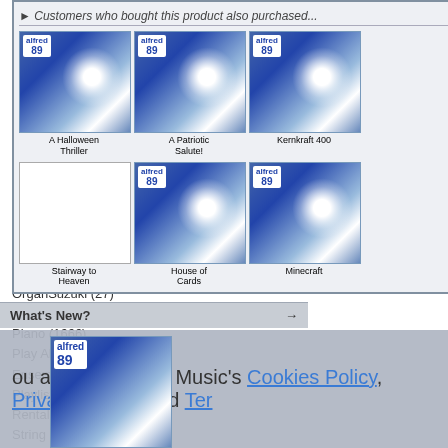2003-04 (47)
2004-05 (45)
2005-06 (40)
2006-07 (44)
2007-08 (37)
2008-09 (36)
2009-10 (41)
2010-11 (48)
2011-12 (45)
2012-13 (43)
2013-14 (39)
2014-15 (43)
2015-16 (43)
2018-19 (10)
OrganSuzuki (27)
Percussion (69)
Piano (1666)
Play Along Ensembles (28)
Playlists (249)
Rental Library Audio (5)
String Explorer (1)
String Orchestra (1847)
Authors
Please Select
Playlists
Please Select
What's New?
[Figure (screenshot): Customers who bought this product also purchased section showing product thumbnails: A Halloween Thriller, A Patriotic Salute!, Kernkraft 400, Stairway to Heaven, House of Cards, Minecraft]
ou agree to Alfred Music's Cookies Policy, Privacy Policy, and Ter...